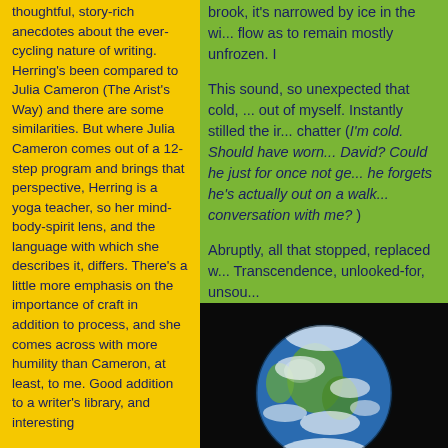thoughtful, story-rich anecdotes about the ever-cycling nature of writing. Herring's been compared to Julia Cameron (The Arist's Way) and there are some similarities. But where Julia Cameron comes out of a 12-step program and brings that perspective, Herring is a yoga teacher, so her mind-body-spirit lens, and the language with which she describes it, differs. There's a little more emphasis on the importance of craft in addition to process, and she comes across with more humility than Cameron, at least, to me. Good addition to a writer's library, and interesting
brook, it's narrowed by ice in the wi... flow as to remain mostly unfrozen.
This sound, so unexpected that cold, ... out of myself. Instantly stilled the ir... chatter (I'm cold. Should have worn... David? Could he just for once not ge... he forgets he's actually out on a walk... conversation with me? )
Abruptly, all that stopped, replaced w... Transcendence, unlooked-for, unsou...
That sound, the water, was the audib... winter, and it vanished, for a few me...
[Figure (photo): Earth globe photograph from space showing continents and clouds, on black background]